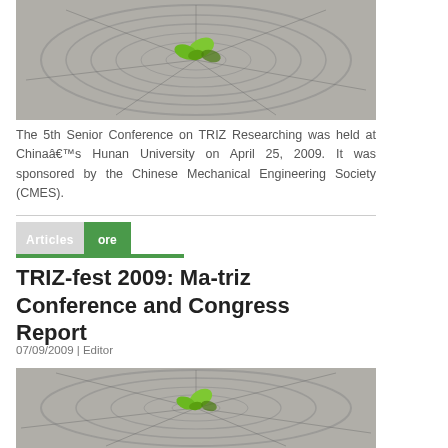[Figure (photo): Tree stump cross-section with green sprout growing from center, top image]
The 5th Senior Conference on TRIZ Researching was held at Chinaâ€™s Hunan University on April 25, 2009. It was sponsored by the Chinese Mechanical Engineering Society (CMES).
Articles | ore
TRIZ-fest 2009: Ma-triz Conference and Congress Report
07/09/2009 | Editor
[Figure (photo): Tree stump cross-section with green sprout growing from center, bottom image]